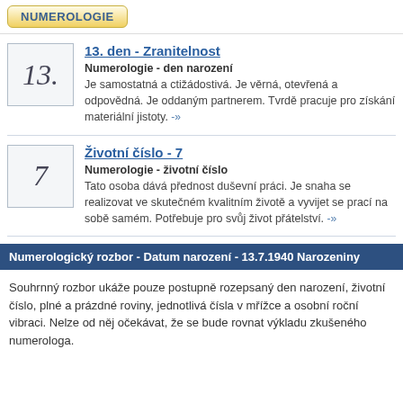NUMEROLOGIE
13. den - Zranitelnost
Numerologie - den narození
Je samostatná a ctižádostivá. Je věrná, otevřená a odpovědná. Je oddaným partnerem. Tvrdě pracuje pro získání materiální jistoty. -»
Životní číslo - 7
Numerologie - životní číslo
Tato osoba dává přednost duševní práci. Je snaha se realizovat ve skutečném kvalitním životě a vyvijet se prací na sobě samém. Potřebuje pro svůj život přátelství. -»
Numerologický rozbor - Datum narození - 13.7.1940 Narozeniny
Souhrnný rozbor ukáže pouze postupně rozepsaný den narození, životní číslo, plné a prázdné roviny, jednotlivá čísla v mřížce a osobní roční vibraci. Nelze od něj očekávat, že se bude rovnat výkladu zkušeného numerologa.